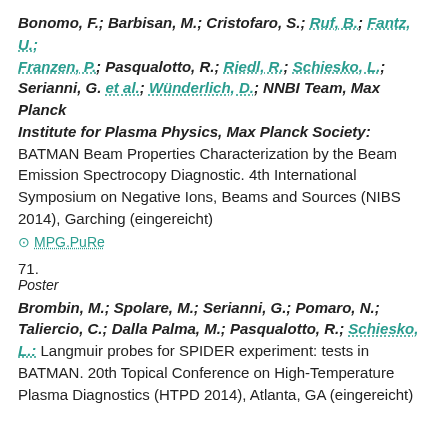Bonomo, F.; Barbisan, M.; Cristofaro, S.; Ruf, B.; Fantz, U.; Franzen, P.; Pasqualotto, R.; Riedl, R.; Schiesko, L.; Serianni, G. et al.; Wünderlich, D.; NNBI Team, Max Planck Institute for Plasma Physics, Max Planck Society: BATMAN Beam Properties Characterization by the Beam Emission Spectrocopy Diagnostic. 4th International Symposium on Negative Ions, Beams and Sources (NIBS 2014), Garching (eingereicht)
⊙ MPG.PuRe
71.
Poster
Brombin, M.; Spolare, M.; Serianni, G.; Pomaro, N.; Taliercio, C.; Dalla Palma, M.; Pasqualotto, R.; Schiesko, L.: Langmuir probes for SPIDER experiment: tests in BATMAN. 20th Topical Conference on High-Temperature Plasma Diagnostics (HTPD 2014), Atlanta, GA (eingereicht)